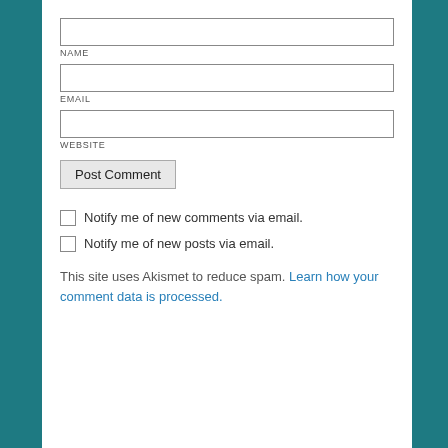NAME
EMAIL
WEBSITE
Post Comment
Notify me of new comments via email.
Notify me of new posts via email.
This site uses Akismet to reduce spam. Learn how your comment data is processed.